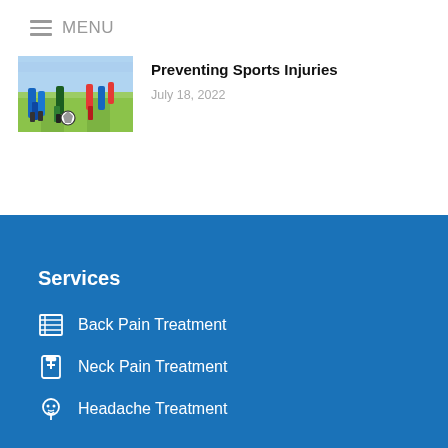MENU
Preventing Sports Injuries
July 18, 2022
Services
Back Pain Treatment
Neck Pain Treatment
Headache Treatment